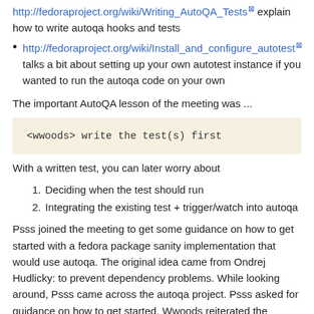http://fedoraproject.org/wiki/Writing_AutoQA_Tests explain how to write autoqa hooks and tests
http://fedoraproject.org/wiki/Install_and_configure_autotest talks a bit about setting up your own autotest instance if you wanted to run the autoqa code on your own
The important AutoQA lesson of the meeting was ...
<wwoods> write the test(s) first
With a written test, you can later worry about
Deciding when the test should run
Integrating the existing test + trigger/watch into autoqa
Psss joined the meeting to get some guidance on how to get started with a fedora package sanity implementation that would use autoqa. The original idea came from Ondrej Hudlicky: to prevent dependency problems. While looking around, Psss came across the autoqa project. Psss asked for guidance on how to get started. Wwoods reiterated the AutoQA lesson of the day...